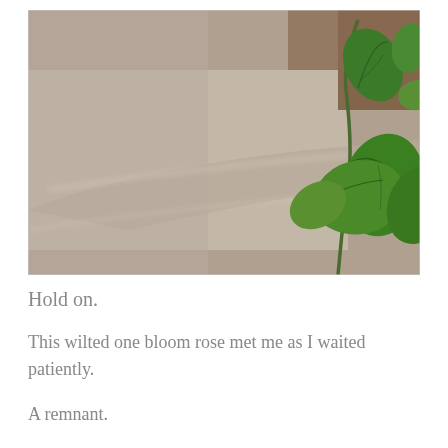[Figure (photo): Close-up photograph of green leaves on a plant stem against a blurred beige/gray stone background. The leaves are vibrant green, with visible veins. The background shows a soft-focus brick or stone wall.]
Hold on.
This wilted one bloom rose met me as I waited patiently.
A remnant.